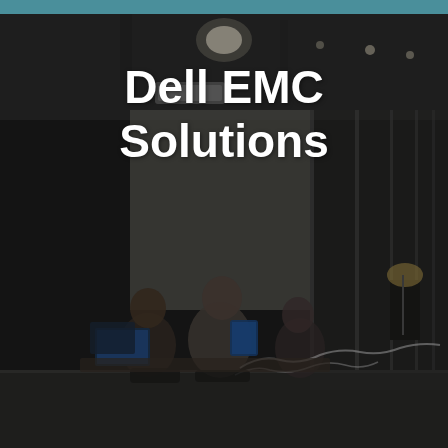[Figure (photo): Dark office scene showing people working in a glass-walled conference room at night, with computer monitors visible, and a long corridor with glass partitions extending to the right. The image has a dark, moody tone.]
Dell EMC Solutions